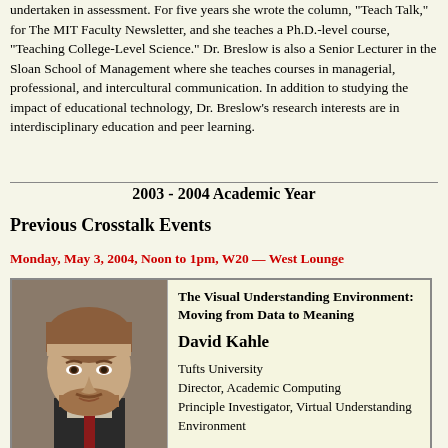undertaken in assessment. For five years she wrote the column, "Teach Talk," for The MIT Faculty Newsletter, and she teaches a Ph.D.-level course, "Teaching College-Level Science." Dr. Breslow is also a Senior Lecturer in the Sloan School of Management where she teaches courses in managerial, professional, and intercultural communication. In addition to studying the impact of educational technology, Dr. Breslow's research interests are in interdisciplinary education and peer learning.
2003 - 2004 Academic Year
Previous Crosstalk Events
Monday, May 3, 2004, Noon to 1pm, W20 — West Lounge
[Figure (photo): Headshot photo of David Kahle alongside a card with title 'The Visual Understanding Environment: Moving from Data to Meaning', name 'David Kahle', affiliation 'Tufts University, Director, Academic Computing, Principle Investigator, Virtual Understanding Environment']